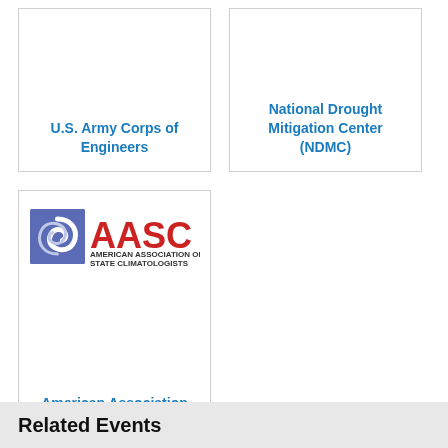U.S. Army Corps of Engineers
National Drought Mitigation Center (NDMC)
[Figure (logo): AASC - American Association of State Climatologists logo with blue square and red spiral/swirl graphic]
American Association of State Climatologists
Related Events